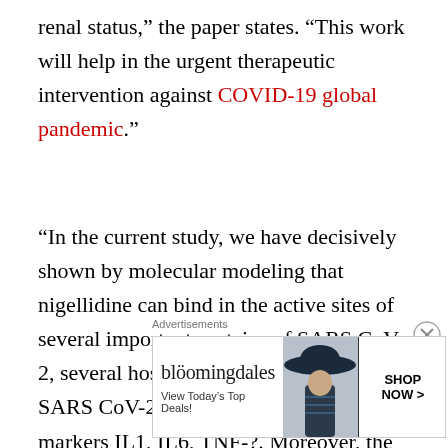renal status,” the paper states. “This work will help in the urgent therapeutic intervention against COVID-19 global pandemic.”
“In the current study, we have decisively shown by molecular modeling that nigellidine can bind in the active sites of several important proteins of SARS CoV 2, several host receptors specific for SARS CoV-2 induced inflammatory markers IL1, IL6, TNF-?. Moreover, the extract from black cumin seed has been shown in experimental rat to be
[Figure (other): Bloomingdale's advertisement banner with logo, tagline 'View Today’s Top Deals!', woman wearing wide-brim hat, and 'SHOP NOW >' button. Labeled 'Advertisements' above.]